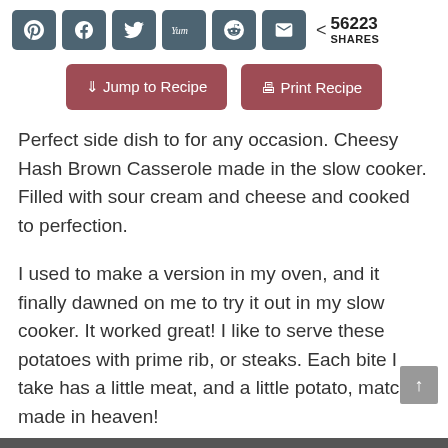[Figure (other): Social sharing toolbar with Pinterest, Facebook, Twitter, Yummly, Reddit, and Email icon buttons in dark teal/slate color, followed by a share count showing 56223 SHARES]
[Figure (other): Two dark rose/mauve colored buttons: 'Jump to Recipe' with a download arrow icon, and 'Print Recipe' with a printer icon]
Perfect side dish to for any occasion. Cheesy Hash Brown Casserole made in the slow cooker. Filled with sour cream and cheese and cooked to perfection.
I used to make a version in my oven, and it finally dawned on me to try it out in my slow cooker. It worked great! I like to serve these potatoes with prime rib, or steaks. Each bite I take has a little meat, and a little potato, match made in heaven!